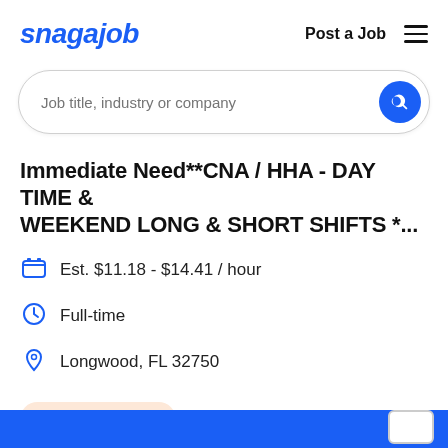snagajob — Post a Job
[Figure (screenshot): Search bar with placeholder 'Job title, industry or company' and blue search button]
Immediate Need**CNA / HHA - DAY TIME & WEEKEND LONG & SHORT SHIFTS *...
Est. $11.18 - $14.41 / hour
Full-time
Longwood, FL 32750
Urgently Hiring